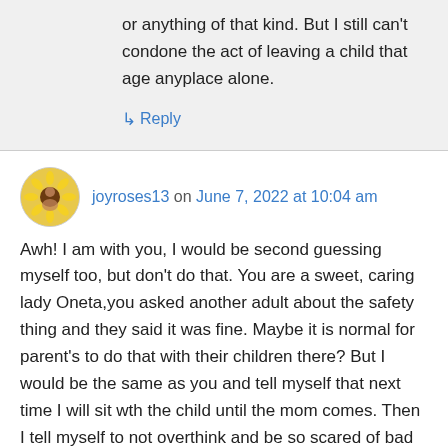or anything of that kind. But I still can't condone the act of leaving a child that age anyplace alone.
↳ Reply
joyroses13 on June 7, 2022 at 10:04 am
Awh! I am with you, I would be second guessing myself too, but don't do that. You are a sweet, caring lady Oneta,you asked another adult about the safety thing and they said it was fine. Maybe it is normal for parent's to do that with their children there? But I would be the same as you and tell myself that next time I will sit wth the child until the mom comes. Then I tell myself to not overthink and be so scared of bad things